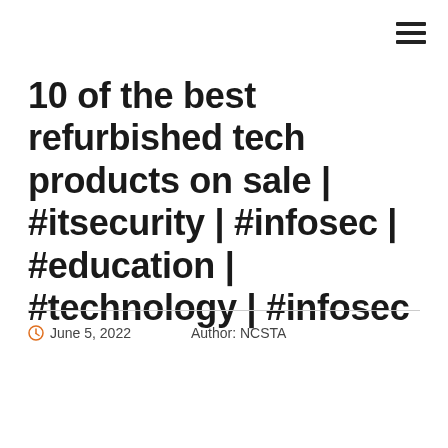10 of the best refurbished tech products on sale | #itsecurity | #infosec | #education | #technology | #infosec
June 5, 2022    Author: NCSTA